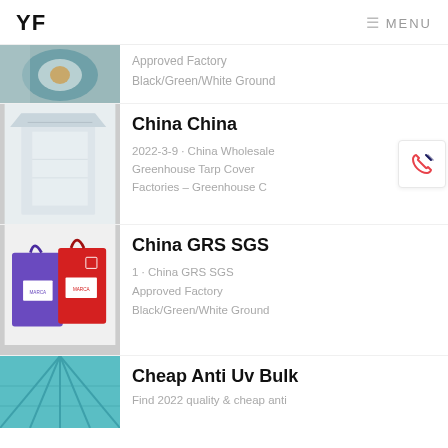YF   MENU
[Figure (photo): Partial top listing: blue/silver plastic film roll]
Approved Factory
Black/Green/White Ground
[Figure (photo): Clear plastic sheeting / bag product photo]
China China
2022-3-9 · China Wholesale Greenhouse Tarp Cover Factories – Greenhouse C
[Figure (photo): Purple and red shopping bags branded MARCA]
China GRS SGS
1 · China GRS SGS
Approved Factory
Black/Green/White Ground
[Figure (photo): Teal/blue umbrella canopy partial view]
Cheap Anti Uv Bulk
Find 2022 quality & cheap anti